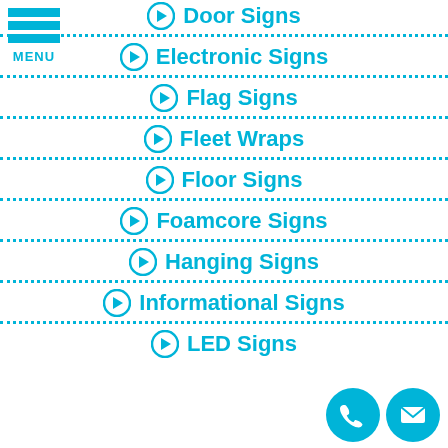[Figure (other): Hamburger menu icon with three blue bars and MENU label]
Door Signs
Electronic Signs
Flag Signs
Fleet Wraps
Floor Signs
Foamcore Signs
Hanging Signs
Informational Signs
LED Signs
[Figure (other): Phone and envelope contact icon buttons in blue circles]